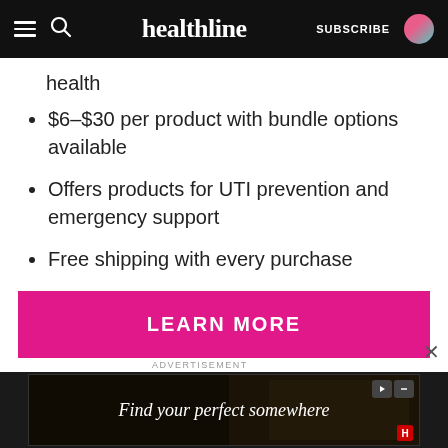healthline — SUBSCRIBE
health
$6–$30 per product with bundle options available
Offers products for UTI prevention and emergency support
Free shipping with every purchase
LEARN MORE
Wisp
ADVERTISEMENT
[Figure (screenshot): Advertisement banner showing 'Find your perfect somewhere' text over a dark background with travel imagery]